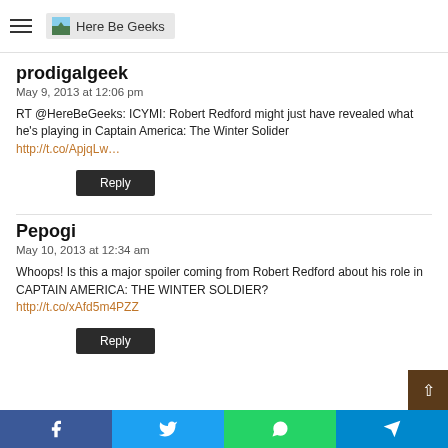Here Be Geeks
prodigalgeek
May 9, 2013 at 12:06 pm
RT @HereBeGeeks: ICYMI: Robert Redford might just have revealed what he's playing in Captain America: The Winter Solider http://t.co/ApjqLw…
Reply
Pepogi
May 10, 2013 at 12:34 am
Whoops! Is this a major spoiler coming from Robert Redford about his role in CAPTAIN AMERICA: THE WINTER SOLDIER? http://t.co/xAfd5m4PZZ
Reply